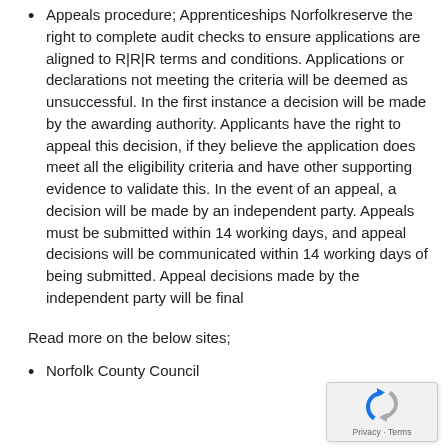Appeals procedure; Apprenticeships Norfolkreserve the right to complete audit checks to ensure applications are aligned to R|R|R terms and conditions. Applications or declarations not meeting the criteria will be deemed as unsuccessful. In the first instance a decision will be made by the awarding authority. Applicants have the right to appeal this decision, if they believe the application does meet all the eligibility criteria and have other supporting evidence to validate this. In the event of an appeal, a decision will be made by an independent party. Appeals must be submitted within 14 working days, and appeal decisions will be communicated within 14 working days of being submitted. Appeal decisions made by the independent party will be final
Read more on the below sites;
Norfolk County Council